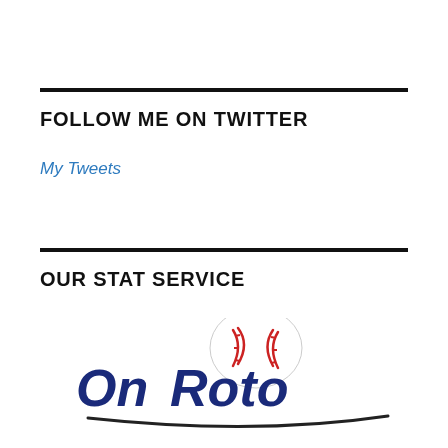FOLLOW ME ON TWITTER
My Tweets
OUR STAT SERVICE
[Figure (logo): OnRoto logo with baseball graphic above the text and a curved swoosh line below]